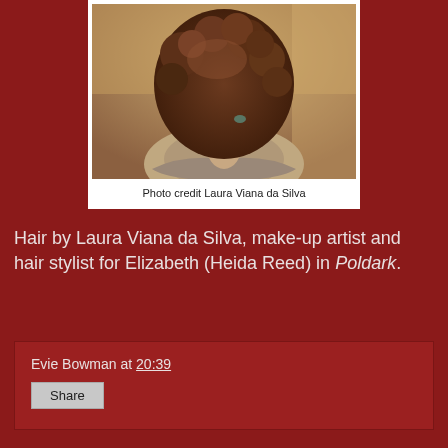[Figure (photo): Back view of a woman with elaborate curled updo hairstyle, wearing a period costume with ruffled off-shoulder neckline, set against a warm stone interior background.]
Photo credit Laura Viana da Silva
Hair by Laura Viana da Silva, make-up artist and hair stylist for Elizabeth (Heida Reed) in Poldark.
Evie Bowman at 20:39
Share